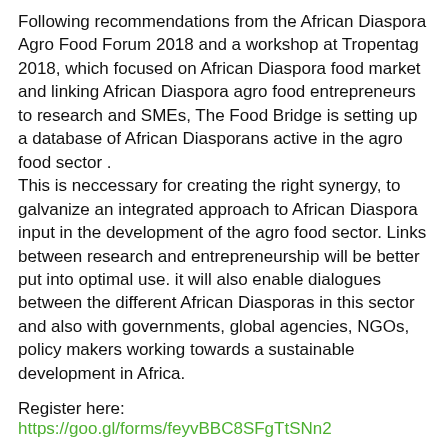Following recommendations from the African Diaspora Agro Food Forum 2018 and a workshop at Tropentag 2018, which focused on African Diaspora food market and linking African Diaspora agro food entrepreneurs to research and SMEs, The Food Bridge is setting up a database of African Diasporans active in the agro food sector .
This is neccessary for creating the right synergy, to galvanize an integrated approach to African Diaspora input in the development of the agro food sector. Links between research and entrepreneurship will be better put into optimal use. it will also enable dialogues between the different African Diasporas in this sector and also with governments, global agencies, NGOs, policy makers working towards a sustainable development in Africa.
Register here: https://goo.gl/forms/feyvBBC8SFgTtSNn2
[Figure (illustration): Row of social media icon buttons: Facebook (dark blue), Twitter (light blue), Digg (dark slate), Pinterest (red), Reddit (orange-red), LinkedIn (teal blue), Tumblr (dark navy), WhatsApp (green)]